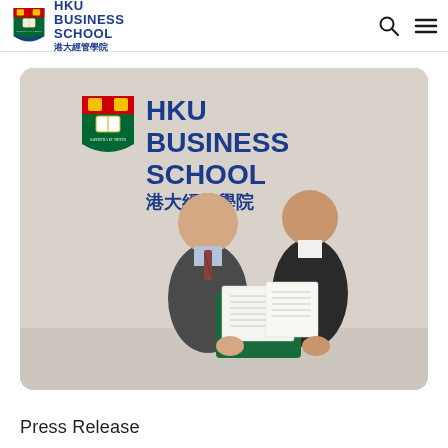HKU BUSINESS SCHOOL 港大經管學院
[Figure (photo): Two men in business attire standing in front of an HKU Business School backdrop, holding a document/agreement folder. The backdrop shows the HKU crest and HKU Business School logo in blue.]
Press Release